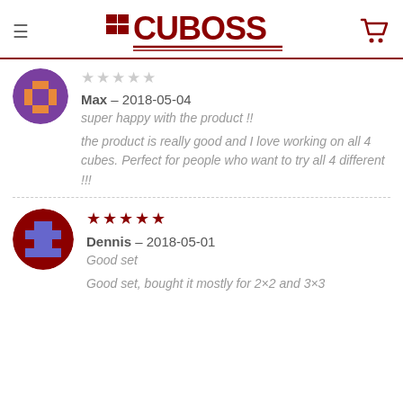CUBOSS logo with navigation
[Figure (other): Pixel art avatar icon, purple/orange tones, circular crop]
Max – 2018-05-04
super happy with the product !!

the product is really good and I love working on all 4 cubes. Perfect for people who want to try all 4 different !!!
[Figure (other): Pixel art avatar icon, red/purple tones, circular crop]
Dennis – 2018-05-01
Good set

Good set, bought it mostly for 2×2 and 3×3